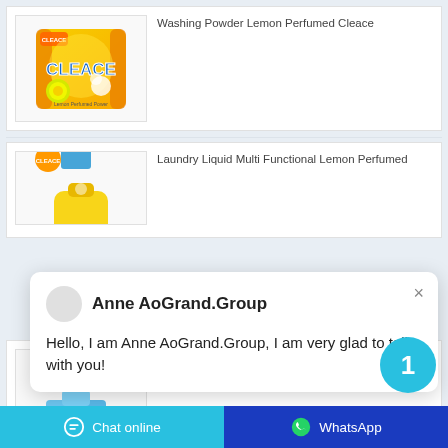[Figure (photo): Product card showing Washing Powder Lemon Perfumed Cleace bag with orange and yellow packaging]
Washing Powder Lemon Perfumed Cleace
[Figure (photo): Partially visible product card showing Laundry Liquid Multi Functional Lemon Perfumed with yellow container]
Laundry Liquid Multi Functional Lemon Perfumed
Anne AoGrand.Group
Hello, I am Anne AoGrand.Group, I am very glad to talk with you!
[Figure (photo): Product card showing Germicidal Antibacterial Soap with Cleace branding]
Germicidal Antibacterial Soap